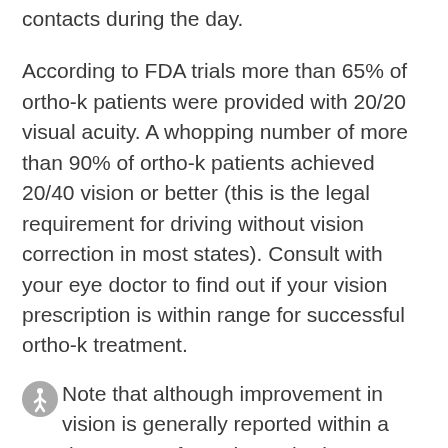contacts during the day.
According to FDA trials more than 65% of ortho-k patients were provided with 20/20 visual acuity. A whopping number of more than 90% of ortho-k patients achieved 20/40 vision or better (this is the legal requirement for driving without vision correction in most states). Consult with your eye doctor to find out if your vision prescription is within range for successful ortho-k treatment.
Note that although improvement in vision is generally reported within a day or two of wearing ortho-k overnight, the full effects may not be experienced until the lenses are worn for a few weeks. During this transition period, your vision will probably not be as crisp as it was with regular contacts or eyeglasses, and glare or halos around lights may be visible. Until ortho-k works fully, a temporary pair of eyeglasses may be required for specific actions, such as driving at night.
How Does Ortho-k Feel?